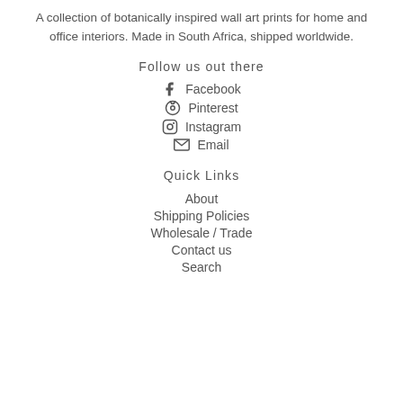A collection of botanically inspired wall art prints for home and office interiors. Made in South Africa, shipped worldwide.
Follow us out there
Facebook
Pinterest
Instagram
Email
Quick Links
About
Shipping Policies
Wholesale / Trade
Contact us
Search